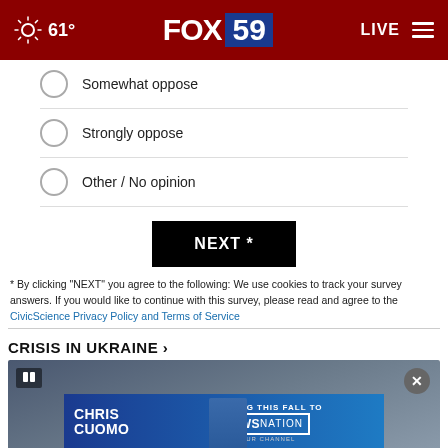61° FOX 59 LIVE
Somewhat oppose
Strongly oppose
Other / No opinion
NEXT *
* By clicking "NEXT" you agree to the following: We use cookies to track your survey answers. If you would like to continue with this survey, please read and agree to the CivicScience Privacy Policy and Terms of Service
CRISIS IN UKRAINE ›
[Figure (screenshot): Ukraine news video thumbnail with dark stormy background, play button icon, close button, and Chris Cuomo / NewsNation advertisement banner overlay]